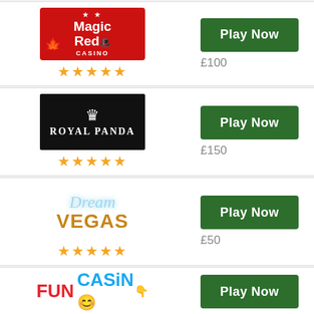[Figure (logo): Magic Red Casino logo - red background with white text, maple leaf and top hat icons]
★★★★★
[Figure (other): Play Now green button with £100 price]
[Figure (logo): Royal Panda Casino logo - black background with crown icon and white text]
★★★★★
[Figure (other): Play Now green button with £150 price]
[Figure (logo): Dream Vegas Casino logo - blue cursive Dream text above brown Vegas text]
★★★★★
[Figure (other): Play Now green button with £50 price]
[Figure (logo): Fun Casino logo - red FUN text and blue CASiNO text with emoji]
★★★★★
[Figure (other): Play Now green button with £150 price]